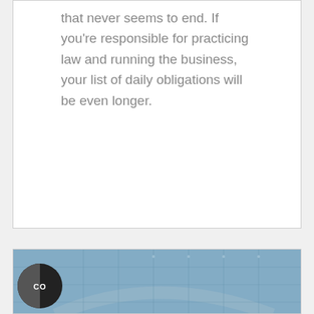that never seems to end. If you're responsible for practicing law and running the business, your list of daily obligations will be even longer.
READ MORE >
[Figure (photo): Photo of a building with glass facade, blue tones. Has a circular CO logo icon in lower left corner.]